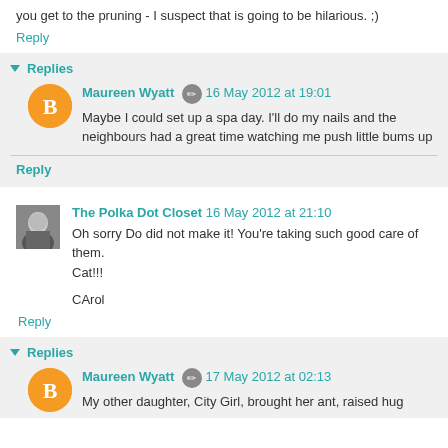you get to the pruning - I suspect that is going to be hilarious. ;)
Reply
▾ Replies
Maureen Wyatt  16 May 2012 at 19:01
Maybe I could set up a spa day. I'll do my nails and the neighbours had a great time watching me push little bums up
Reply
The Polka Dot Closet  16 May 2012 at 21:10
Oh sorry Do did not make it! You're taking such good care of them. Cat!!!
CArol
Reply
▾ Replies
Maureen Wyatt  17 May 2012 at 02:13
My other daughter, City Girl, brought her ant, raised hug